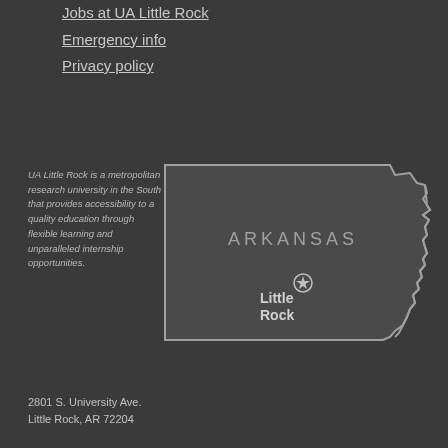Jobs at UA Little Rock
Emergency info
Privacy policy
UA Little Rock is a metropolitan research university in the South that provides accessibility to a quality education through flexible learning and unparalleled internship opportunities.
[Figure (map): Outline map of Arkansas state with Little Rock marked by a star symbol in the center, labeled 'ARKANSAS' at top and 'Little Rock' with a star icon below center.]
2801 S. University Ave.
Little Rock, AR 72204